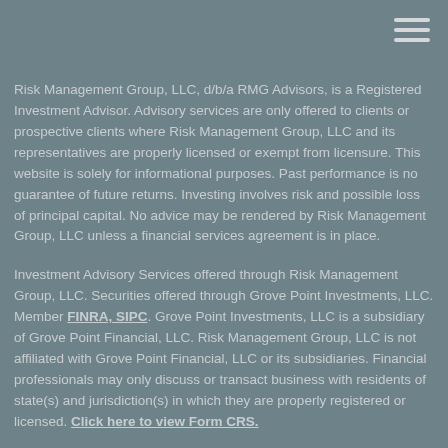[Figure (other): Hamburger menu icon (three horizontal lines) in top right corner]
Risk Management Group, LLC, d/b/a RMG Advisors, is a Registered Investment Advisor. Advisory services are only offered to clients or prospective clients where Risk Management Group, LLC and its representatives are properly licensed or exempt from licensure. This website is solely for informational purposes. Past performance is no guarantee of future returns. Investing involves risk and possible loss of principal capital. No advice may be rendered by Risk Management Group, LLC unless a financial services agreement is in place.
Investment Advisory Services offered through Risk Management Group, LLC. Securities offered through Grove Point Investments, LLC. Member FINRA, SIPC. Grove Point Investments, LLC is a subsidiary of Grove Point Financial, LLC. Risk Management Group, LLC is not affiliated with Grove Point Financial, LLC or its subsidiaries. Financial professionals may only discuss or transact business with residents of state(s) and jurisdiction(s) in which they are properly registered or licensed. Click here to view Form CRS.